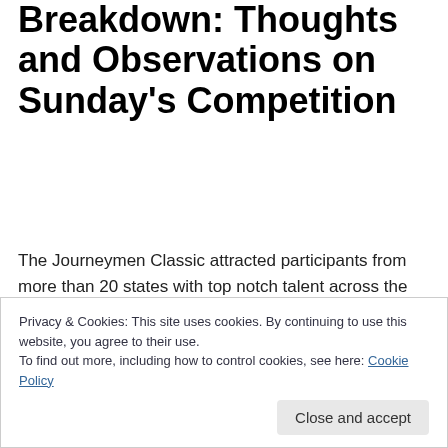Breakdown: Thoughts and Observations on Sunday's Competition
The Journeymen Classic attracted participants from more than 20 states with top notch talent across the weights. Given that, it wasn't surprising to see college coaches all over Niskayuna High School, watching the action throughout the day. With six mats in two different gyms, we didn't watch everything that took place, but here are
Privacy & Cookies: This site uses cookies. By continuing to use this website, you agree to their use.
To find out more, including how to control cookies, see here: Cookie Policy